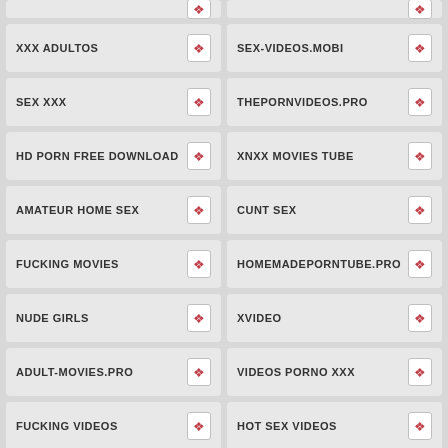XXX ADULTOS
SEX-VIDEOS.MOBI
SEX XXX
THEPORNVIDEOS.PRO
HD PORN FREE DOWNLOAD
XNXX MOVIES TUBE
AMATEUR HOME SEX
CUNT SEX
FUCKING MOVIES
HOMEMADEPORNTUBE.PRO
NUDE GIRLS
XVIDEO
ADULT-MOVIES.PRO
VIDEOS PORNO XXX
FUCKING VIDEOS
HOT SEX VIDEOS